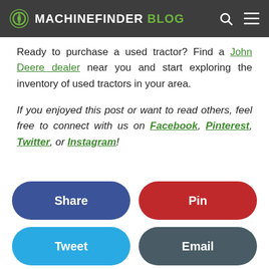MACHINEFINDER BLOG
Ready to purchase a used tractor? Find a John Deere dealer near you and start exploring the inventory of used tractors in your area.
If you enjoyed this post or want to read others, feel free to connect with us on Facebook, Pinterest, Twitter, or Instagram!
Share
Pin
Tweet
Email